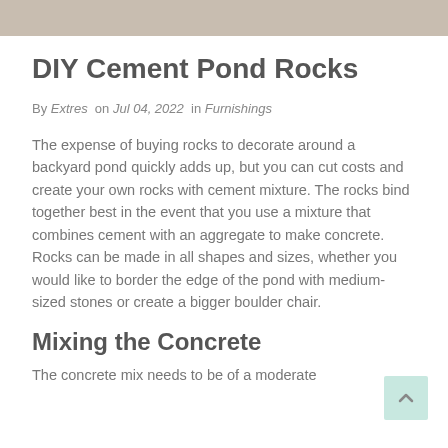[Figure (photo): Top strip of a photograph showing what appears to be rocks or a pond scene, cropped at the top of the page.]
DIY Cement Pond Rocks
By Extres  on Jul 04, 2022  in Furnishings
The expense of buying rocks to decorate around a backyard pond quickly adds up, but you can cut costs and create your own rocks with cement mixture. The rocks bind together best in the event that you use a mixture that combines cement with an aggregate to make concrete. Rocks can be made in all shapes and sizes, whether you would like to border the edge of the pond with medium-sized stones or create a bigger boulder chair.
Mixing the Concrete
The concrete mix needs to be of a moderate